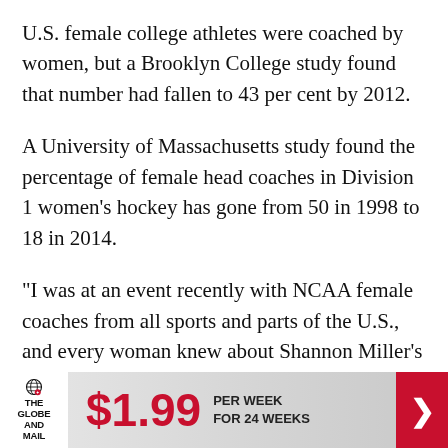U.S. female college athletes were coached by women, but a Brooklyn College study found that number had fallen to 43 per cent by 2012.
A University of Massachusetts study found the percentage of female head coaches in Division 1 women's hockey has gone from 50 in 1998 to 18 in 2014.
"I was at an event recently with NCAA female coaches from all sports and parts of the U.S., and every woman knew about Shannon Miller's situation," said Marlene Bjornsrud, executive director of the Alliance of Women Coaches.
[Figure (other): The Globe and Mail advertisement banner: $1.99 per week for 24 weeks with red arrow button]